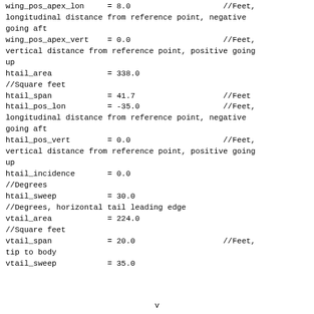wing_pos_apex_lon     = 8.0                          //Feet, longitudinal distance from reference point, negative going aft
wing_pos_apex_vert    = 0.0                          //Feet, vertical distance from reference point, positive going up
htail_area                = 338.0
//Square feet
htail_span                = 41.7                          //Feet
htail_pos_lon             = -35.0                         //Feet, longitudinal distance from reference point, negative going aft
htail_pos_vert            = 0.0                          //Feet, vertical distance from reference point, positive going up
htail_incidence           = 0.0
//Degrees
htail_sweep               = 30.0
//Degrees, horizontal tail leading edge
vtail_area                = 224.0
//Square feet
vtail_span                = 20.0                          //Feet, tip to body
vtail_sweep               = 35.0
v